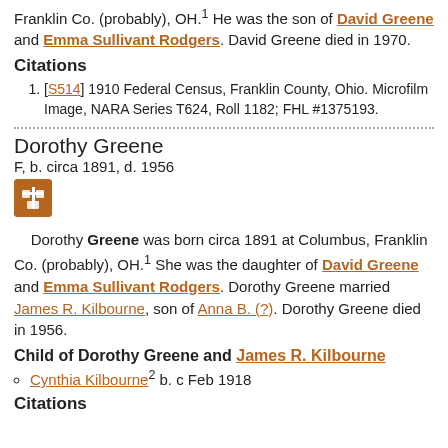Franklin Co. (probably), OH.1 He was the son of David Greene and Emma Sullivant Rodgers. David Greene died in 1970.
Citations
[S514] 1910 Federal Census, Franklin County, Ohio. Microfilm Image, NARA Series T624, Roll 1182; FHL #1375193.
Dorothy Greene
F, b. circa 1891, d. 1956
Dorothy Greene was born circa 1891 at Columbus, Franklin Co. (probably), OH.1 She was the daughter of David Greene and Emma Sullivant Rodgers. Dorothy Greene married James R. Kilbourne, son of Anna B. (?). Dorothy Greene died in 1956.
Child of Dorothy Greene and James R. Kilbourne
Cynthia Kilbourne2 b. c Feb 1918
Citations